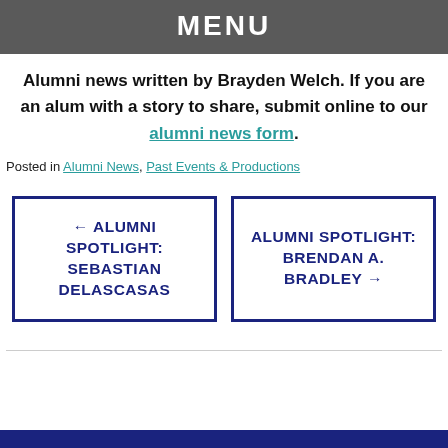MENU
Alumni news written by Brayden Welch. If you are an alum with a story to share, submit online to our alumni news form.
Posted in Alumni News, Past Events & Productions
← ALUMNI SPOTLIGHT: SEBASTIAN DELASCASAS
ALUMNI SPOTLIGHT: BRENDAN A. BRADLEY →